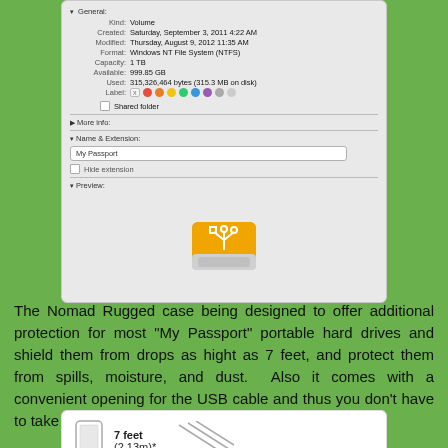[Figure (screenshot): macOS Get Info panel showing a volume named My Passport with kind Volume, created Saturday September 3 2011 4:22 AM, modified Thursday August 9 2012 11:35 AM, format Windows NT File System (NTFS), Capacity 1 TB, Available 999.85 GB, Used 315,326,464 bytes (315.3 MB on disk), Label and color dots, Shared folder checkbox, More info section, Name & Extension section with My Passport text field and Hide extension checkbox, Preview section showing orange USB hard drive icon]
The Nomad Rugged case being designed to offer additional protection for most "My Passport" portable hard drives and shield them from drops as hight as 7 feet, and protect them from spills, moisture, and dust.  Also it comes with a convenient opening for the USB cable and thus you don't have to take the drive out of the case to use it.
[Figure (illustration): White panel showing a phone/hard drive icon on the left and text '7 feet (2.13m)*' with diagonal drop lines on the right]